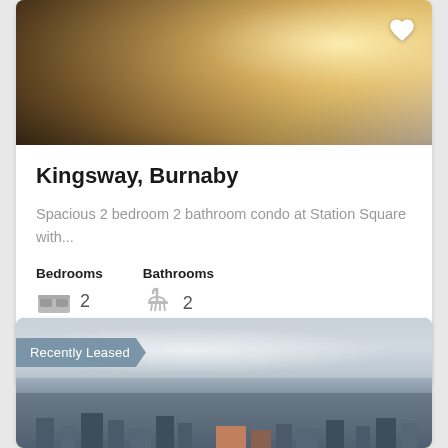[Figure (photo): Interior photo of a room with hardwood flooring, sunlight streaming in from upper right]
Kingsway, Burnaby
Spacious 2 bedroom 2 bathroom condo at Station Square with...
Bedrooms  2   Bathrooms  2
$2,495 Per Month
[Figure (photo): Aerial/skyline photo of a city with cloudy sky, tagged Recently Leased]